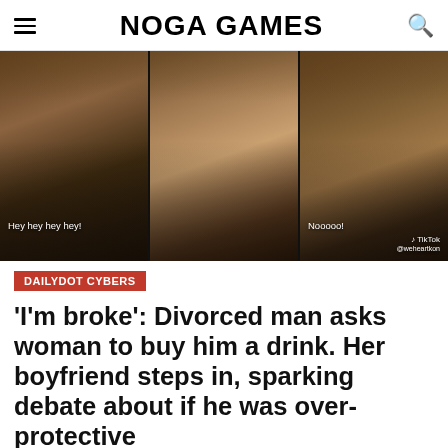NOGA GAMES
[Figure (photo): Three side-by-side video stills from a TikTok video showing a social confrontation at a bar/restaurant. Left panel shows two women, text overlay reads 'Hey hey hey hey!'. Middle panel shows a woman in a black dress holding a drink. Right panel shows a man and woman, text overlay reads 'Nooooo!'. TikTok watermark visible on right panel.]
DAILYDOT CYBERS
'I'm broke': Divorced man asks woman to buy him a drink. Her boyfriend steps in, sparking debate about if he was over-protective